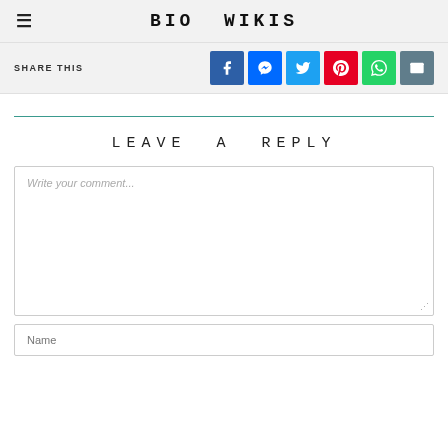BIO WIKIS
SHARE THIS
LEAVE A REPLY
Write your comment...
Name